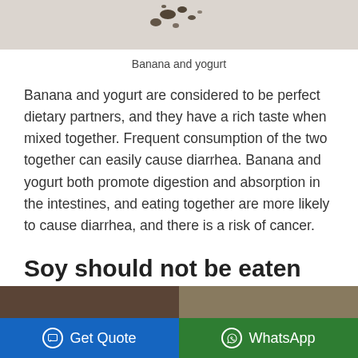[Figure (photo): Partial top view of banana and yogurt dish with dark food particles visible on a light surface]
Banana and yogurt
Banana and yogurt are considered to be perfect dietary partners, and they have a rich taste when mixed together. Frequent consumption of the two together can easily cause diarrhea. Banana and yogurt both promote digestion and absorption in the intestines, and eating together are more likely to cause diarrhea, and there is a risk of cancer.
Soy should not be eaten with yogurt
[Figure (photo): Partial bottom image showing food items related to soy and yogurt]
Get Quote   WhatsApp